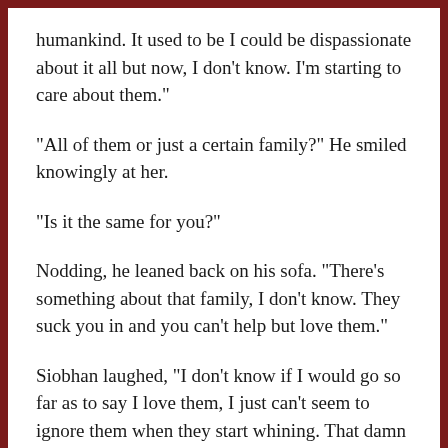humankind. It used to be I could be dispassionate about it all but now, I don’t know. I’m starting to care about them.”
“All of them or just a certain family?” He smiled knowingly at her.
“Is it the same for you?”
Nodding, he leaned back on his sofa. “There’s something about that family, I don’t know. They suck you in and you can’t help but love them.”
Siobhan laughed, “I don’t know if I would go so far as to say I love them, I just can’t seem to ignore them when they start whining. That damn Nyema. She had to mess with Rae Rose.”
Brian nodded again. He felt the same way. Nyema